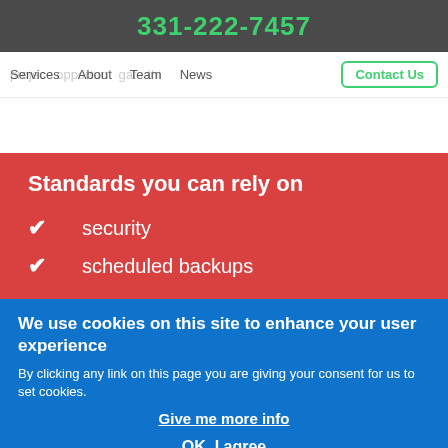331-222-7457
Services  About  Team  News  Contact Us
Standards you can rely on
security
scheduled backups
We use cookies on this site to enhance your user experience
By clicking any link on this page you are giving your consent for us to set cookies.
Give me more info
OK, I agree